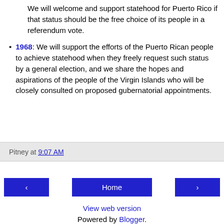We will welcome and support statehood for Puerto Rico if that status should be the free choice of its people in a referendum vote.
1968: We will support the efforts of the Puerto Rican people to achieve statehood when they freely request such status by a general election, and we share the hopes and aspirations of the people of the Virgin Islands who will be closely consulted on proposed gubernatorial appointments.
Pitney at 9:07 AM
Home
View web version
Powered by Blogger.